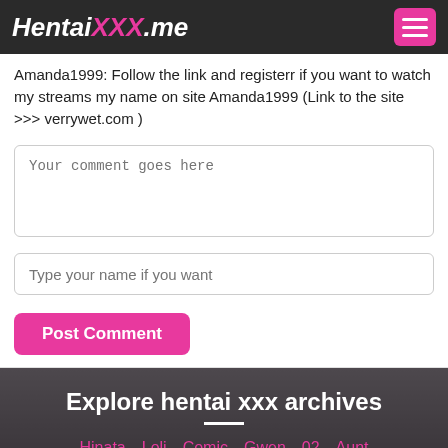HentaiXXX.me
Amanda1999: Follow the link and registerr if you want to watch my streams my name on site Amanda1999 (Link to the site >>> verrywet.com )
Your comment goes here
Type your name if you want
Post Comment
Explore hentai xxx archives
Hinata
Loli
Comic
Gwen
02
Aunt
What are you searching?